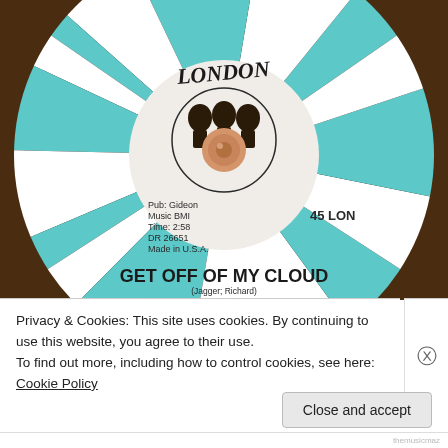[Figure (photo): Close-up photograph of a London Records 45 RPM vinyl single label for 'Get Off of My Cloud' by The Rolling Stones (Jagger; Richard). The label shows the London Records logo at top, a circular center with silhouette artwork of band members, text reading 'Pub: Gideon Music BMI, Time: 2:58, DR 26651, Made in U.S.A.', and '45 LON' on the right. The vinyl is turquoise/teal and white with radiating stripe pattern. A copper/rose-gold colored record adapter is visible in the center.]
Privacy & Cookies: This site uses cookies. By continuing to use this website, you agree to their use.
To find out more, including how to control cookies, see here: Cookie Policy
Close and accept